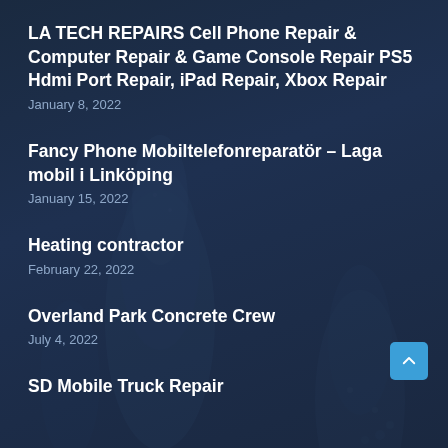LA TECH REPAIRS Cell Phone Repair & Computer Repair & Game Console Repair PS5 Hdmi Port Repair, iPad Repair, Xbox Repair
January 8, 2022
Fancy Phone Mobiltelefonreparatör – Laga mobil i Linköping
January 15, 2022
Heating contractor
February 22, 2022
Overland Park Concrete Crew
July 4, 2022
SD Mobile Truck Repair